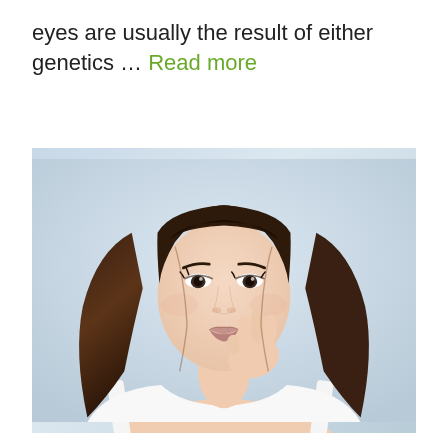eyes are usually the result of either genetics … Read more
[Figure (photo): Portrait photo of a young Asian woman with long straight brown hair, touching her chin/cheek with her hand, wearing a white top, against a light blue-grey background. Professional beauty/skincare style photo.]